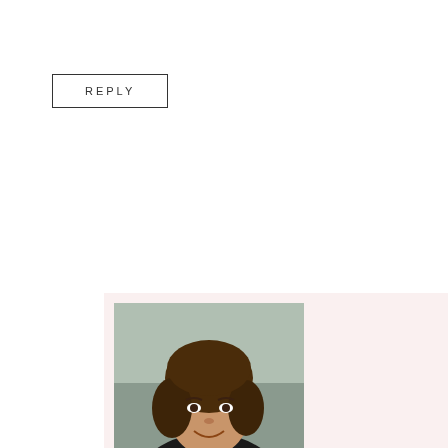REPLY
[Figure (photo): Profile photo of Dee Brestin, a woman with short brown hair wearing a dark blazer with a teal/green top, smiling, photographed outdoors.]
Dee Brestin
NOVEMBER 24, 2017
You encouraged me, Liz.
REPLY